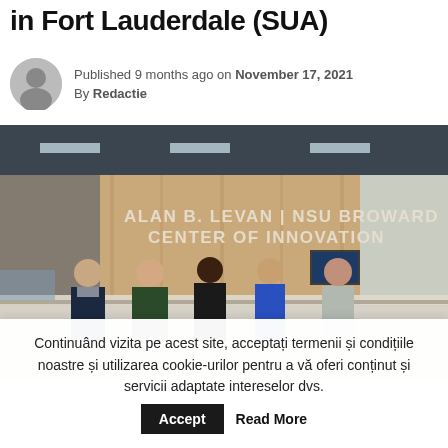in Fort Lauderdale (SUA)
Published 9 months ago on November 17, 2021
By Redactie
[Figure (photo): Five people standing in front of a reception desk at the Alan B. Levan | NSU Broward Center of Innovation in Fort Lauderdale. The group consists of three women and two men in business attire. The signage on the wall behind them reads 'ALAN B. LEVAN | NSU BROWARD CENTER OF INNOVATION'.]
Continuând vizita pe acest site, acceptați termenii și condițiile noastre și utilizarea cookie-urilor pentru a vă oferi conținut și servicii adaptate intereselor dvs. Accept Read More